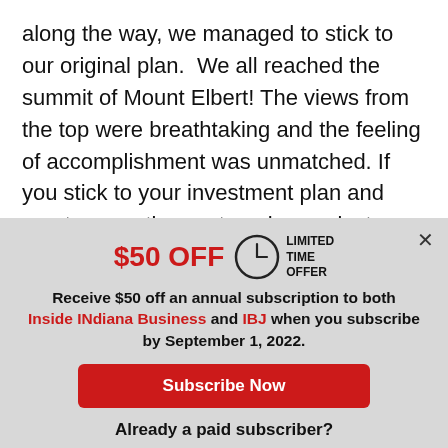along the way, we managed to stick to our original plan.  We all reached the summit of Mount Elbert! The views from the top were breathtaking and the feeling of accomplishment was unmatched. If you stick to your investment plan and meet your retirement goals, you just might feel the same way.
[Figure (infographic): Subscription offer overlay with $50 OFF limited time offer, clock icon, description text with red links, Subscribe Now button, and Log In button for paid subscribers]